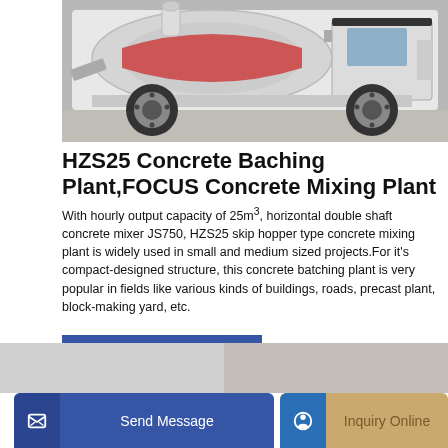[Figure (photo): Side view of a white concrete mixer truck (HZS25) with a rotating drum, large wheels, and industrial equipment visible, parked on a concrete surface.]
HZS25 Concrete Baching Plant,FOCUS Concrete Mixing Plant
With hourly output capacity of 25m³, horizontal double shaft concrete mixer JS750, HZS25 skip hopper type concrete mixing plant is widely used in small and medium sized projects.For it's compact-designed structure, this concrete batching plant is very popular in fields like various kinds of buildings, roads, precast plant, block-making yard, etc.
GET A QUOTE
[Figure (photo): Partial view of concrete mixing/batching equipment at the bottom of the page.]
Send Message
Inquiry Online